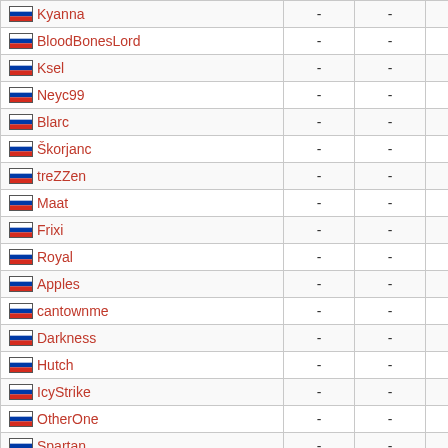| Player |  |  |  |
| --- | --- | --- | --- |
| Kyanna | - | - |  |
| BloodBonesLord | - | - |  |
| Ksel | - | - |  |
| Neyc99 | - | - |  |
| Blarc | - | - |  |
| Škorjanc | - | - |  |
| treZZen | - | - |  |
| Maat | - | - |  |
| Frixi | - | - |  |
| Royal | - | - |  |
| Apples | - | - |  |
| cantownme | - | - |  |
| Darkness | - | - |  |
| Hutch | - | - |  |
| IcyStrike | - | - |  |
| OtherOne | - | - |  |
| Spartan | - | - |  |
| DePsi | - | - |  |